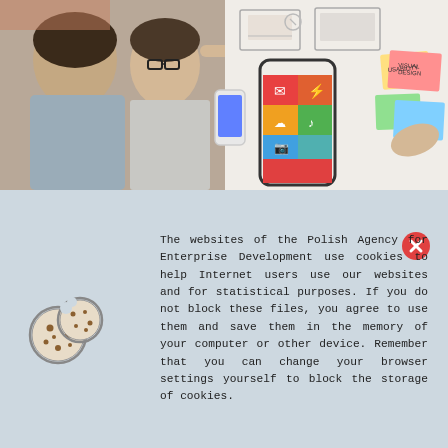[Figure (photo): Two men looking at a whiteboard with UX/UI wireframes, sticky notes, and a mobile phone mockup with colorful app icons]
[Figure (illustration): Cookie icon - two round cookies with dots]
The websites of the Polish Agency for Enterprise Development use cookies to help Internet users use our websites and for statistical purposes. If you do not block these files, you agree to use them and save them in the memory of your computer or other device. Remember that you can change your browser settings yourself to block the storage of cookies.